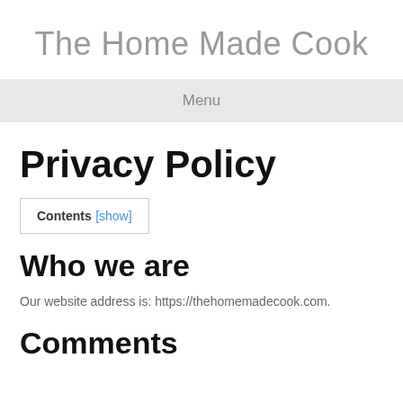The Home Made Cook
Menu
Privacy Policy
Contents [show]
Who we are
Our website address is: https://thehomemadecook.com.
Comments